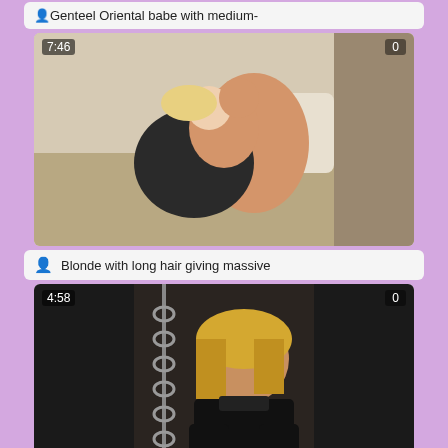Genteel Oriental babe with medium-
[Figure (screenshot): Video thumbnail showing two people kissing on a white couch, timestamp 7:46, view count 0]
Blonde with long hair giving massive
[Figure (screenshot): Video thumbnail showing a woman in black leather outfit holding chains against dark background, timestamp 4:58, view count 0, watermark ALL JAPANESE]
Mesmerizing Asian reverse cowgirl in a